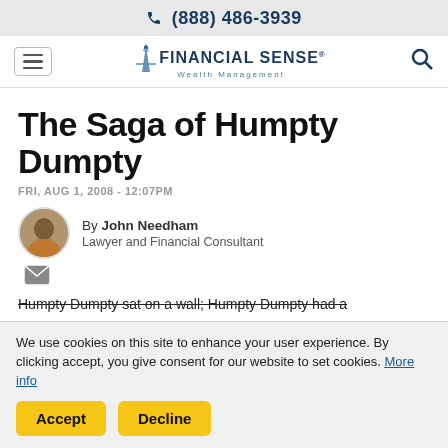(888) 486-3939
[Figure (logo): Financial Sense Wealth Management logo with lighthouse icon]
The Saga of Humpty Dumpty
FRI, AUG 1, 2008 - 12:07PM
By John Needham
Lawyer and Financial Consultant
Humpty Dumpty sat on a wall; Humpty Dumpty had a
We use cookies on this site to enhance your user experience. By clicking accept, you give consent for our website to set cookies. More info
Accept   Decline